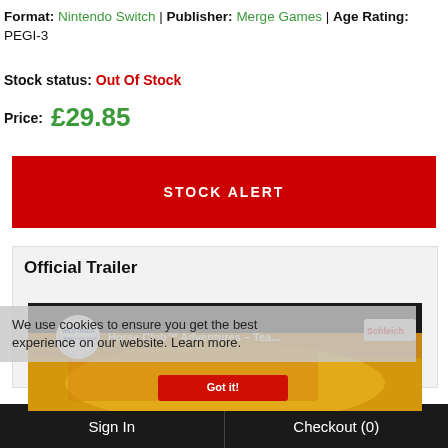Format: Nintendo Switch | Publisher: Merge Games | Age Rating: PEGI-3
Stock status: Out Of Stock
Price: £29.85
STOCK ALERT
Official Trailer
We use cookies to ensure you get the best experience on our website. Learn more.
[Figure (screenshot): Video thumbnail for Horse Club Adventures - Tea... with Wild River Games logo and Schleich logo visible]
Sign In
Checkout (0)